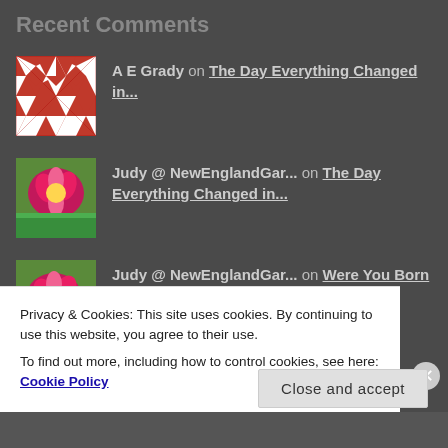Recent Comments
A E Grady on The Day Everything Changed in...
Judy @ NewEnglandGar... on The Day Everything Changed in...
Judy @ NewEnglandGar... on Were You Born in a Barn?
A E Grady on Superpower for Everyone
Privacy & Cookies: This site uses cookies. By continuing to use this website, you agree to their use.
To find out more, including how to control cookies, see here: Cookie Policy
Close and accept